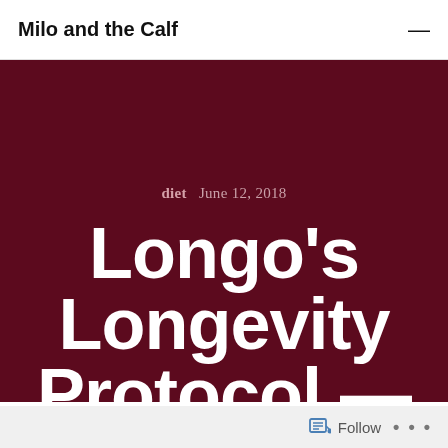Milo and the Calf
diet   June 12, 2018
Longo's Longevity Protocol — The
Follow ...